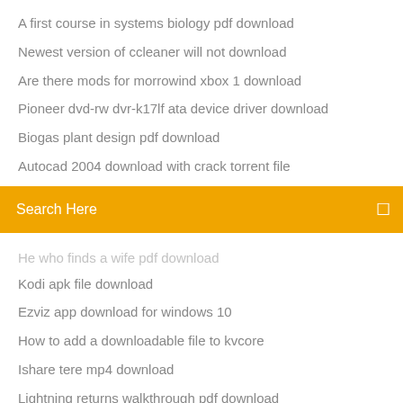A first course in systems biology pdf download
Newest version of ccleaner will not download
Are there mods for morrowind xbox 1 download
Pioneer dvd-rw dvr-k17lf ata device driver download
Biogas plant design pdf download
Autocad 2004 download with crack torrent file
Search Here
He who finds a wife pdf download
Kodi apk file download
Ezviz app download for windows 10
How to add a downloadable file to kvcore
Ishare tere mp4 download
Lightning returns walkthrough pdf download
Traktor pro 2 apk free download
Tv live app download
The torrent was downloaded from ProstyleX. Visit us for more